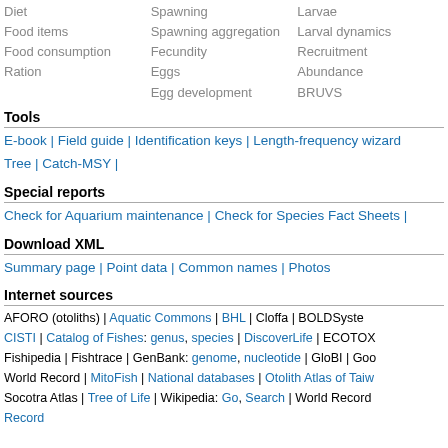Diet | Spawning | Larvae
Food items | Spawning aggregation | Larval dynamics
Food consumption | Fecundity | Recruitment
Ration | Eggs | Abundance
Egg development | BRUVS
Tools
E-book | Field guide | Identification keys | Length-frequency wizard | Tree | Catch-MSY |
Special reports
Check for Aquarium maintenance | Check for Species Fact Sheets |
Download XML
Summary page | Point data | Common names | Photos
Internet sources
AFORO (otoliths) | Aquatic Commons | BHL | Cloffa | BOLDSystems | CISTI | Catalog of Fishes: genus, species | DiscoverLife | ECOTOX | Fishipedia | Fishtrace | GenBank: genome, nucleotide | GloBI | Good World Record | MitoFish | National databases | Otolith Atlas of Taiwan | Socotra Atlas | Tree of Life | Wikipedia: Go, Search | World Record | Record